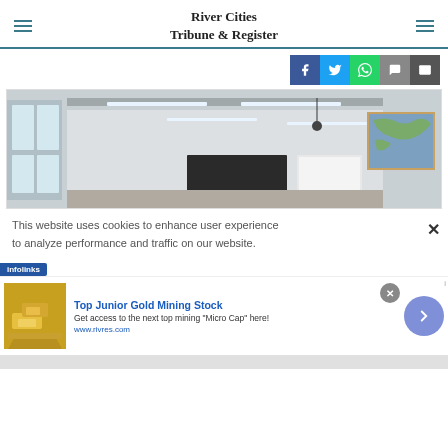River Cities Tribune & Register
[Figure (photo): Empty classroom interior with fluorescent lighting, blackboard, projection screen, and world map on wall]
This website uses cookies to enhance user experience to analyze performance and traffic on our website.
[Figure (infographic): Infolinks advertisement banner: Top Junior Gold Mining Stock - Get access to the next top mining 'Micro Cap' here! www.rivres.com]